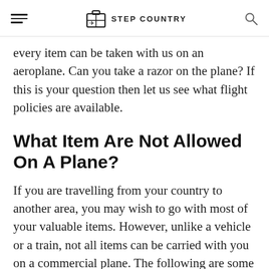STEP COUNTRY
every item can be taken with us on an aeroplane. Can you take a razor on the plane? If this is your question then let us see what flight policies are available.
What Item Are Not Allowed On A Plane?
If you are travelling from your country to another area, you may wish to go with most of your valuable items. However, unlike a vehicle or a train, not all items can be carried with you on a commercial plane. The following are some of the listed items